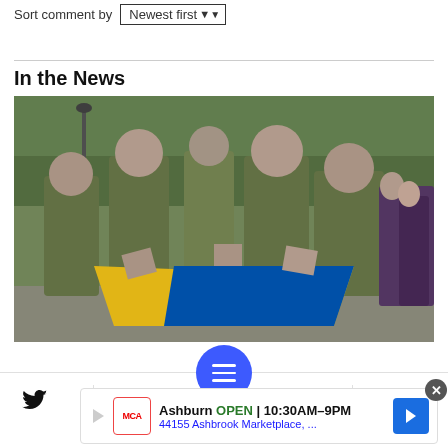Sort comment by   Newest first ▼
In the News
[Figure (photo): Ukrainian soldiers in camouflage uniforms folding or draping a Ukrainian flag (yellow and blue) at what appears to be a ceremony, with onlookers in the background]
[Figure (screenshot): Bottom navigation toolbar with Twitter bird icon, Facebook f icon, blue circular menu FAB button with three horizontal lines, bookmark icon, and email/envelope icon]
Ashburn OPEN 10:30AM–9PM
44155 Ashbrook Marketplace, ...